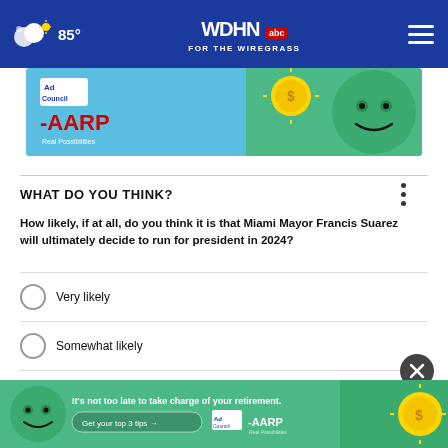85° WDHN abc FOR THE WIREGRASS
[Figure (infographic): Ad Council and AARP banner advertisement with green character and coin imagery]
WHAT DO YOU THINK?
How likely, if at all, do you think it is that Miami Mayor Francis Suarez will ultimately decide to run for president in 2024?
Very likely
Somewhat likely
Not at all likely
Don't know
[Figure (infographic): AARP bottom banner ad with green character face, text 'It's not too late to take charge of your retirement. Get your top 3 tips' with Ad Council and AARP logos and coin]